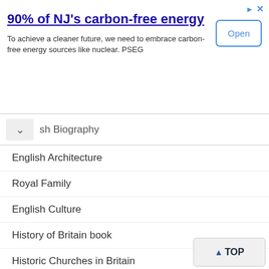[Figure (screenshot): Advertisement banner: '90% of NJ's carbon-free energy' with Open button]
sh Biography
English Architecture
Royal Family
English Culture
History of Britain book
Historic Churches in Britain
Illustrated Dictionary of Church History & Architecture
Explore
Castles
England